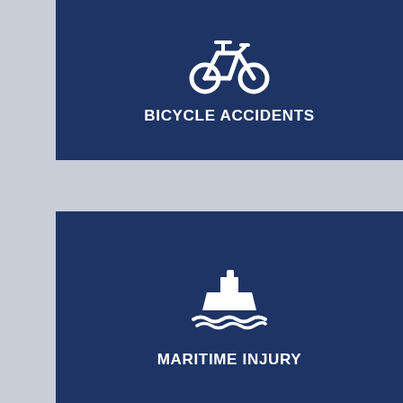[Figure (infographic): Dark navy blue card with bicycle icon (white outline bicycle) and label BICYCLE ACCIDENTS in white bold uppercase text]
[Figure (infographic): Dark navy blue card with ship/boat icon (white silhouette of a vessel on waves) and label MARITIME INJURY in white bold uppercase text]
[Figure (infographic): Dark navy blue card partially visible at bottom, with a circular icon partially cut off]